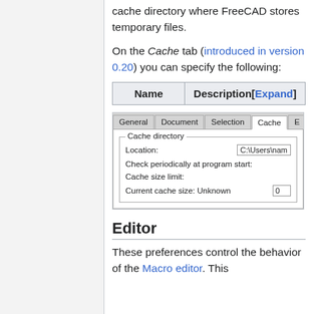cache directory where FreeCAD stores temporary files.
On the Cache tab (introduced in version 0.20) you can specify the following:
| Name | Description[Expand] |
| --- | --- |
[Figure (screenshot): Screenshot of FreeCAD Preferences dialog showing the Cache tab with Cache directory group containing Location, Check periodically at program start, Cache size limit, and Current cache size fields.]
Editor
These preferences control the behavior of the Macro editor. This